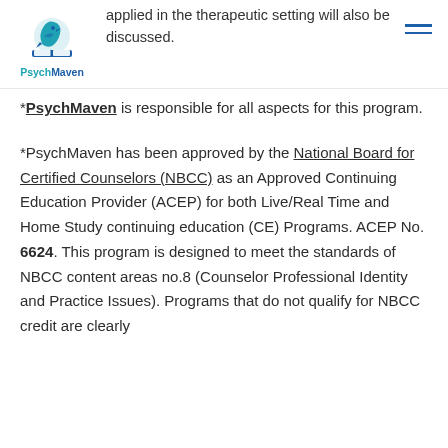applied in the therapeutic setting will also be discussed.
[Figure (logo): PsychMaven logo with a teal bird/raven sitting on books, text reads PsychMaven]
*PsychMaven is responsible for all aspects for this program.
*PsychMaven has been approved by the National Board for Certified Counselors (NBCC) as an Approved Continuing Education Provider (ACEP) for both Live/Real Time and Home Study continuing education (CE) Programs. ACEP No. 6624. This program is designed to meet the standards of NBCC content areas no.8 (Counselor Professional Identity and Practice Issues). Programs that do not qualify for NBCC credit are clearly